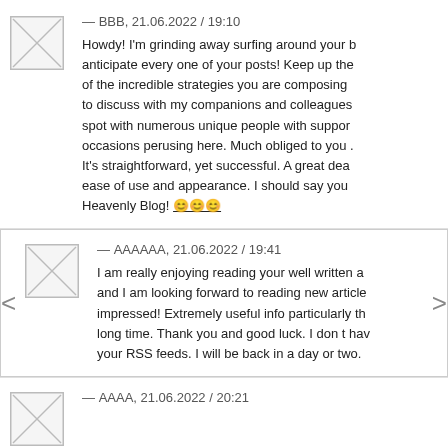— ВВВ, 21.06.2022 / 19:10
Howdy! I'm grinding away surfing around your b... anticipate every one of your posts! Keep up the of the incredible strategies you are composing to discuss with my companions and colleagues. spot with numerous unique people with suppor... occasions perusing here. Much obliged to you . It's straightforward, yet successful. A great dea... ease of use and appearance. I should say you Heavenly Blog! 😊😊😊
— АААААА, 21.06.2022 / 19:41
I am really enjoying reading your well written a... and I am looking forward to reading new article... impressed! Extremely useful info particularly th... long time. Thank you and good luck. I don t hav... your RSS feeds. I will be back in a day or two.
— АААА, 21.06.2022 / 20:21